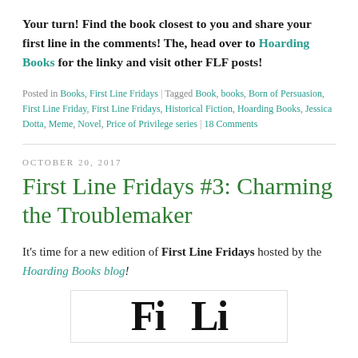Your turn! Find the book closest to you and share your first line in the comments! The, head over to Hoarding Books for the linky and visit other FLF posts!
Posted in Books, First Line Fridays | Tagged Book, books, Born of Persuasion, First Line Friday, First Line Fridays, Historical Fiction, Hoarding Books, Jessica Dotta, Meme, Novel, Price of Privilege series | 18 Comments
OCTOBER 20, 2017
First Line Fridays #3: Charming the Troublemaker
It’s time for a new edition of First Line Fridays hosted by the Hoarding Books blog!
[Figure (other): Partial preview of a book cover or graphic with large bold text beginning with 'Fi' and 'Li' visible at the bottom of the page]